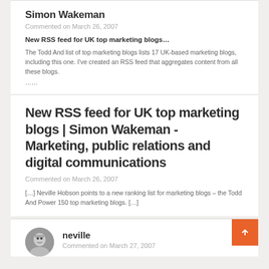Simon Wakeman
Commented on March 26, 2007
New RSS feed for UK top marketing blogs…
The Todd And list of top marketing blogs lists 17 UK-based marketing blogs, including this one. I've created an RSS feed that aggregates content from all these blogs.
……
New RSS feed for UK top marketing blogs | Simon Wakeman - Marketing, public relations and digital communications
Commented on March 26, 2007
[…] Neville Hobson points to a new ranking list for marketing blogs – the Todd And Power 150 top marketing blogs. […]
neville
Commented on March 27, 2007